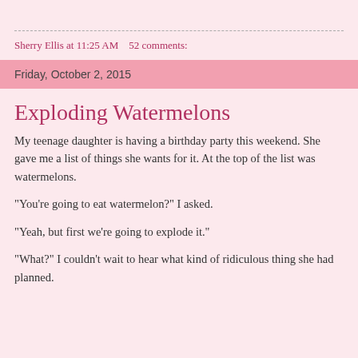Sherry Ellis at 11:25 AM    52 comments:
Friday, October 2, 2015
Exploding Watermelons
My teenage daughter is having a birthday party this weekend. She gave me a list of things she wants for it. At the top of the list was watermelons.
"You're going to eat watermelon?" I asked.
"Yeah, but first we're going to explode it."
"What?" I couldn't wait to hear what kind of ridiculous thing she had planned.